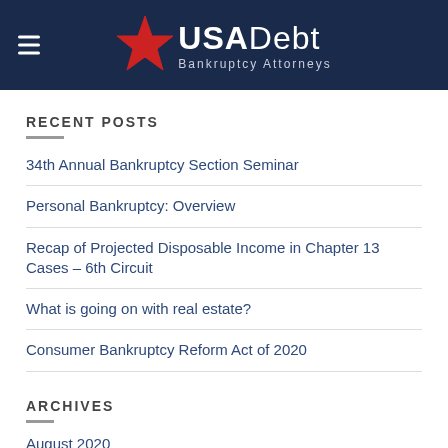USA Debt Bankruptcy Attorneys
RECENT POSTS
34th Annual Bankruptcy Section Seminar
Personal Bankruptcy: Overview
Recap of Projected Disposable Income in Chapter 13 Cases – 6th Circuit
What is going on with real estate?
Consumer Bankruptcy Reform Act of 2020
ARCHIVES
August 2020